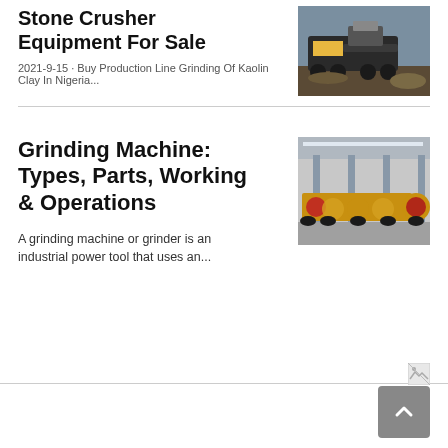Stone Crusher Equipment For Sale
2021-9-15 · Buy Production Line Grinding Of Kaolin Clay In Nigeria...
[Figure (photo): Stone crusher machine operating outdoors with gravel and dirt]
Grinding Machine: Types, Parts, Working & Operations
[Figure (photo): Yellow grinding machines in an industrial warehouse]
A grinding machine or grinder is an industrial power tool that uses an...